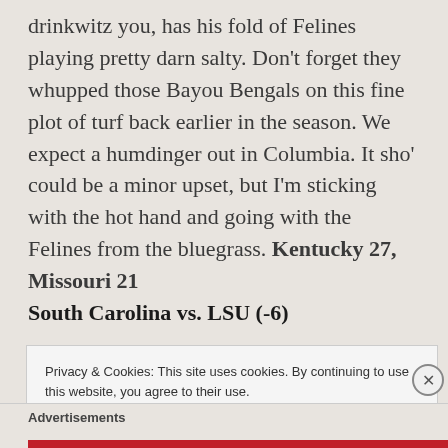drinkwitz you, has his fold of Felines playing pretty darn salty. Don't forget they whupped those Bayou Bengals on this fine plot of turf back earlier in the season. We expect a humdinger out in Columbia. It sho' could be a minor upset, but I'm sticking with the hot hand and going with the Felines from the bluegrass. Kentucky 27, Missouri 21
South Carolina vs. LSU (-6)
Privacy & Cookies: This site uses cookies. By continuing to use this website, you agree to their use. To find out more, including how to control cookies, see here: Cookie Policy
Close and accept
Advertisements